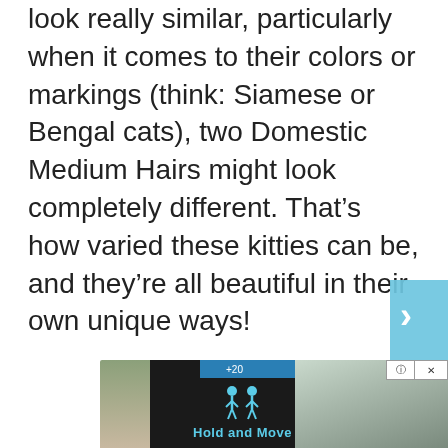look really similar, particularly when it comes to their colors or markings (think: Siamese or Bengal cats), two Domestic Medium Hairs might look completely different. That's how varied these kitties can be, and they're all beautiful in their own unique ways!
[Figure (screenshot): A light blue circular navigation arrow button (chevron right) partially visible on the right edge of the page]
[Figure (screenshot): An advertisement banner at the bottom showing a dark app interface with 'Hold and Move' text in blue, trees in background, with close (X) and help (?) buttons in top right]